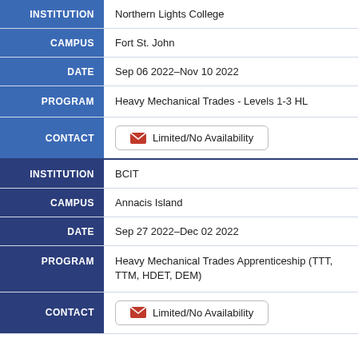INSTITUTION: Northern Lights College
CAMPUS: Fort St. John
DATE: Sep 06 2022–Nov 10 2022
PROGRAM: Heavy Mechanical Trades - Levels 1-3 HL
CONTACT: Limited/No Availability
INSTITUTION: BCIT
CAMPUS: Annacis Island
DATE: Sep 27 2022–Dec 02 2022
PROGRAM: Heavy Mechanical Trades Apprenticeship (TTT, TTM, HDET, DEM)
CONTACT: Limited/No Availability